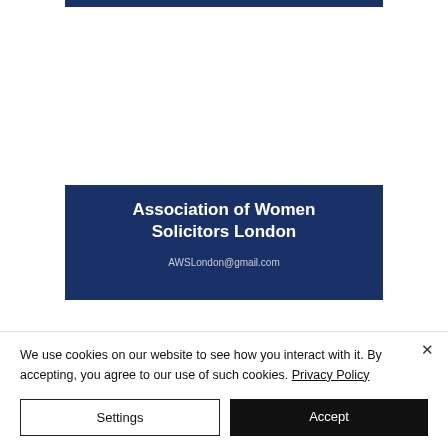[Figure (other): Dark navy blue horizontal bar at the top of the page]
[Figure (other): Dark navy blue card/panel showing 'Association of Women Solicitors London' organization name and partial email AWSLondon@gmail.com]
We use cookies on our website to see how you interact with it. By accepting, you agree to our use of such cookies. Privacy Policy
Settings
Accept